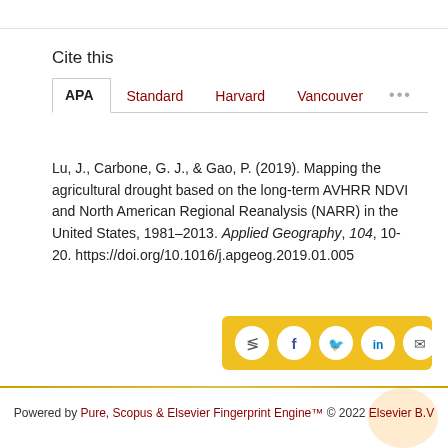Cite this
APA  Standard  Harvard  Vancouver  •••
Lu, J., Carbone, G. J., & Gao, P. (2019). Mapping the agricultural drought based on the long-term AVHRR NDVI and North American Regional Reanalysis (NARR) in the United States, 1981–2013. Applied Geography, 104, 10-20. https://doi.org/10.1016/j.apgeog.2019.01.005
Powered by Pure, Scopus & Elsevier Fingerprint Engine™ © 2022 Elsevier B.V